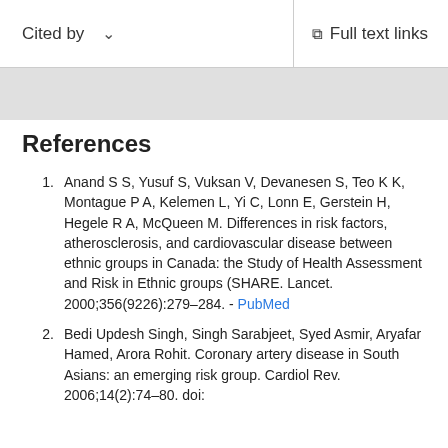Cited by   ∨   Full text links
References
Anand S S, Yusuf S, Vuksan V, Devanesen S, Teo K K, Montague P A, Kelemen L, Yi C, Lonn E, Gerstein H, Hegele R A, McQueen M. Differences in risk factors, atherosclerosis, and cardiovascular disease between ethnic groups in Canada: the Study of Health Assessment and Risk in Ethnic groups (SHARE. Lancet. 2000;356(9226):279–284. - PubMed
Bedi Updesh Singh, Singh Sarabjeet, Syed Asmir, Aryafar Hamed, Arora Rohit. Coronary artery disease in South Asians: an emerging risk group. Cardiol Rev. 2006;14(2):74–80. doi: